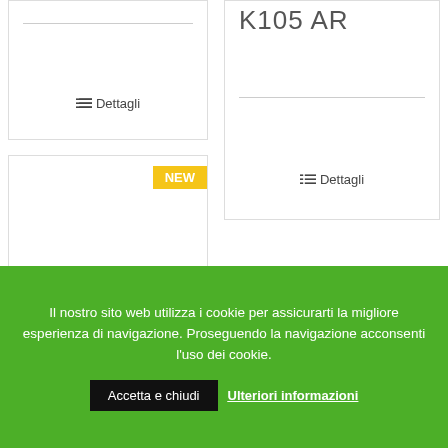[Figure (screenshot): Partial product card on left with a horizontal separator line and Dettagli button]
[Figure (screenshot): Product card showing K105 AR model name with horizontal separator and Dettagli button]
[Figure (photo): Product card with NEW badge showing a yellow tractor (compact agricultural tractor) with large black tires]
Il nostro sito web utilizza i cookie per assicurarti la migliore esperienza di navigazione. Proseguendo la navigazione acconsenti l'uso dei cookie.
Accetta e chiudi
Ulteriori informazioni